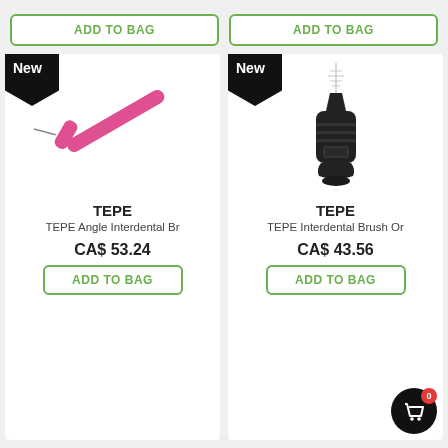[Figure (screenshot): E-commerce product listing page showing two TEPE interdental brush products with Add to Bag buttons, New badges, product images, names, and prices in Canadian dollars.]
ADD TO BAG
ADD TO BAG
New
[Figure (photo): TEPE pink angle interdental brush with angled handle on white background]
TEPE
TEPE Angle Interdental Br
CA$ 53.24
ADD TO BAG
New
[Figure (photo): TEPE black interdental brush with small bristle tip on white background]
TEPE
TEPE Interdental Brush Or
CA$ 43.56
ADD TO BAG